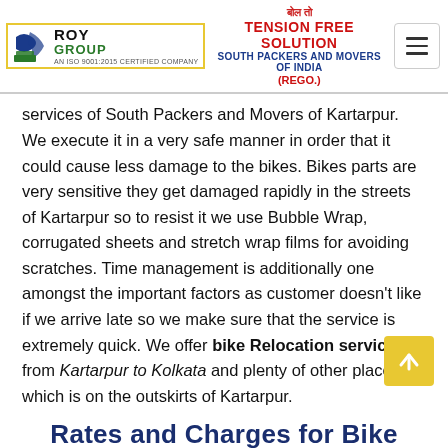ROY GROUP | TENSION FREE SOLUTION | SOUTH PACKERS AND MOVERS OF INDIA (REGO.)
services of South Packers and Movers of Kartarpur. We execute it in a very safe manner in order that it could cause less damage to the bikes. Bikes parts are very sensitive they get damaged rapidly in the streets of Kartarpur so to resist it we use Bubble Wrap, corrugated sheets and stretch wrap films for avoiding scratches. Time management is additionally one amongst the important factors as customer doesn't like if we arrive late so we make sure that the service is extremely quick. We offer bike Relocation services from Kartarpur to Kolkata and plenty of other places which is on the outskirts of Kartarpur.
Rates and Charges for Bike